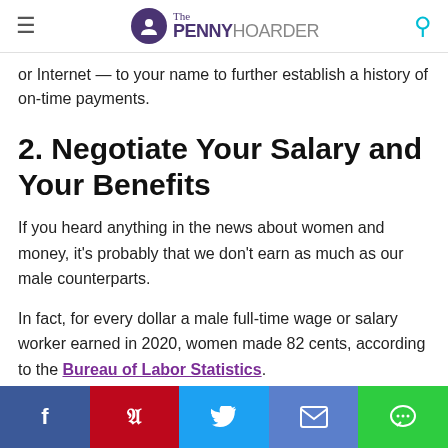The PENNY HOARDER
or Internet — to your name to further establish a history of on-time payments.
2. Negotiate Your Salary and Your Benefits
If you heard anything in the news about women and money, it's probably that we don't earn as much as our male counterparts.
In fact, for every dollar a male full-time wage or salary worker earned in 2020, women made 82 cents, according to the Bureau of Labor Statistics.
There are plenty of contributing factors to this phenomenon,